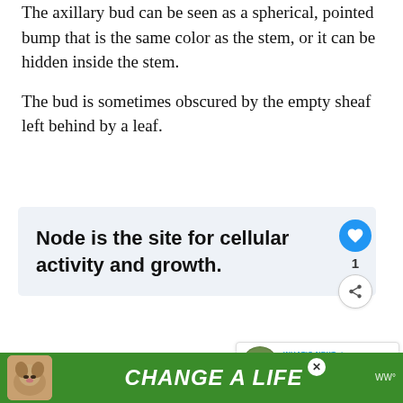The axillary bud can be seen as a spherical, pointed bump that is the same color as the stem, or it can be hidden inside the stem.
The bud is sometimes obscured by the empty sheaf left behind by a leaf.
[Figure (infographic): Highlighted callout box with bold text reading: Node is the site for cellular activity and growth. Social interaction icons (heart, count 1, share) on the right side.]
Location of Node: The node is located on the exterior surface of the stem where the leaf bu...
[Figure (infographic): Green advertisement banner at the bottom reading CHANGE A LIFE with a dog photo, a close button, and a logo.]